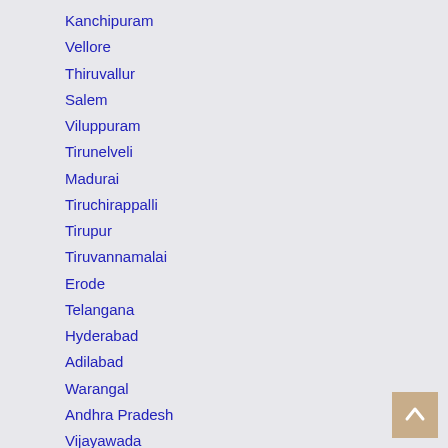Kanchipuram
Vellore
Thiruvallur
Salem
Viluppuram
Tirunelveli
Madurai
Tiruchirappalli
Tirupur
Tiruvannamalai
Erode
Telangana
Hyderabad
Adilabad
Warangal
Andhra Pradesh
Vijayawada
Visakhapatnam
Guntur
Hubli